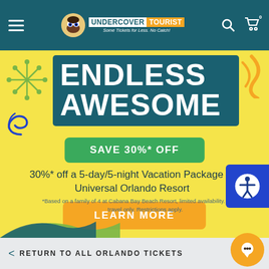Undercover Tourist navigation bar
[Figure (screenshot): Promotional banner with 'ENDLESS AWESOME' text on teal background with decorative elements on yellow background. Includes SAVE 30%* OFF green button, promo text, LEARN MORE orange button, and footnote.]
SAVE 30%* OFF
30%* off a 5-day/5-night Vacation Package at Universal Orlando Resort
LEARN MORE
*Based on a family of 4 at Cabana Bay Beach Resort, limited availability. Sun-Thu travel only. Restrictions apply.
< RETURN TO ALL ORLANDO TICKETS